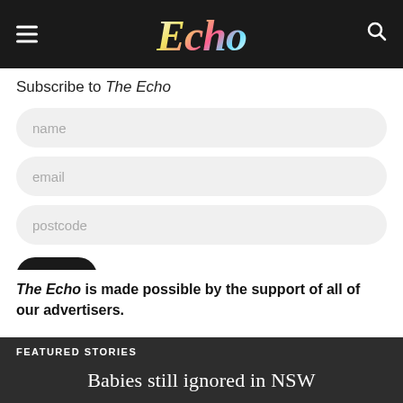Echo
Subscribe to The Echo
name
email
postcode
Join
The Echo is made possible by the support of all of our advertisers.
FEATURED STORIES
Babies still ignored in NSW